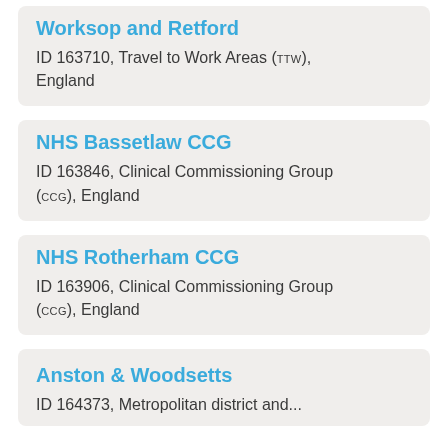Worksop and Retford
ID 163710, Travel to Work Areas (TTW), England
NHS Bassetlaw CCG
ID 163846, Clinical Commissioning Group (CCG), England
NHS Rotherham CCG
ID 163906, Clinical Commissioning Group (CCG), England
Anston & Woodsetts
ID 164373, Metropolitan district and...